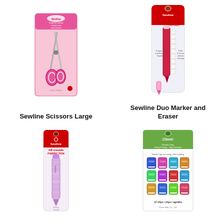[Figure (photo): Sewline Scissors Large - pink handle scissors in packaging]
Sewline Scissors Large
[Figure (photo): Sewline Duo Marker and Eraser - red marker pen with eraser in packaging]
Sewline Duo Marker and Eraser
[Figure (photo): Sewline air erasable fabric pen in packaging]
[Figure (photo): Clover wonder clips or finger protectors in packaging]